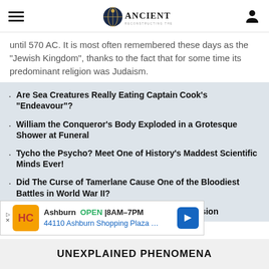Ancient Origins — Reconstructing the story of humanity's past
until 570 AC. It is most often remembered these days as the “Jewish Kingdom”, thanks to the fact that for some time its predominant religion was Judaism.
Are Sea Creatures Really Eating Captain Cook’s “Endeavour”?
William the Conqueror’s Body Exploded in a Grotesque Shower at Funeral
Tycho the Psycho? Meet One of History’s Maddest Scientific Minds Ever!
Did The Curse of Tamerlane Cause One of the Bloodiest Battles in World War II?
Astronomer John Wilkins Planned a Moon Mission
[Figure (other): Advertisement banner: Ashburn OPEN 8AM-7PM, 44110 Ashburn Shopping Plaza...]
UNEXPLAINED PHENOMENA